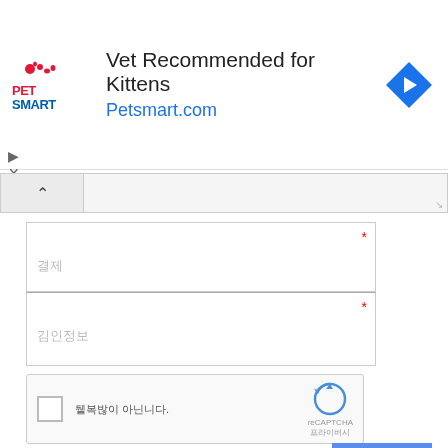[Figure (screenshot): PetSmart advertisement banner with logo, 'Vet Recommended for Kittens' text, 'Petsmart.com' link in blue, and a blue diamond arrow icon]
[Figure (screenshot): Web form with collapse/expand bar, two required text input fields with Korean placeholder text, a reCAPTCHA checkbox widget, a small checkbox with Korean label, and a blue submit button with Korean text]
가사집 저작권 안내 Copyright © 2004~2020 Gasazip.com All rights reserved.  / 가사 신청 / 개인 정보 / E-mail : hwanico@gmail.com RSS